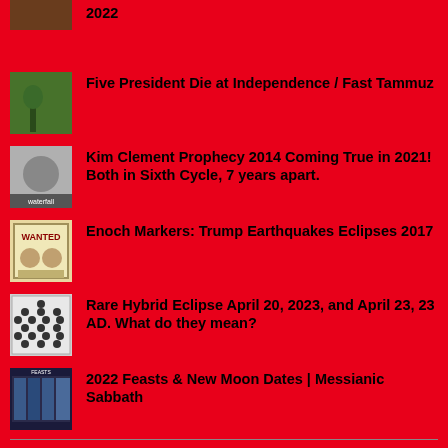2022
Five President Die at Independence / Fast Tammuz
Kim Clement Prophecy 2014 Coming True in 2021! Both in Sixth Cycle, 7 years apart.
Enoch Markers: Trump Earthquakes Eclipses 2017
Rare Hybrid Eclipse April 20, 2023, and April 23, 23 AD. What do they mean?
2022 Feasts & New Moon Dates | Messianic Sabbath